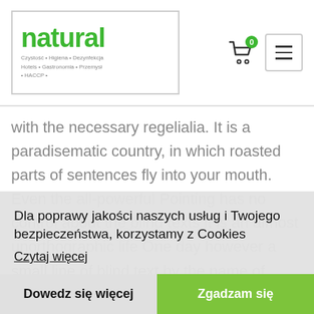[Figure (logo): Natural brand logo with green text and tagline: Czystość • Higiena • Dezynfekcja Hotels • Gastronomia • Przemysł • HACCP •]
with the necessary regelialia. It is a paradisematic country, in which roasted parts of sentences fly into your mouth. Even the all-powerful Pointing has no control about the blind texts it is an almost unorthographic life One day however a small line of blind text by the name of Lorem Ipsum decided to leave for the far World of Grammar. The Big Oxmox advised her not to do so, because there were thousands of bad Commas, wild Question Marks and devious Semikoli.
Dla poprawy jakości naszych usług i Twojego bezpieczeństwa, korzystamy z Cookies
Czytaj więcej
Dowedz się więcej
Zgadzam się